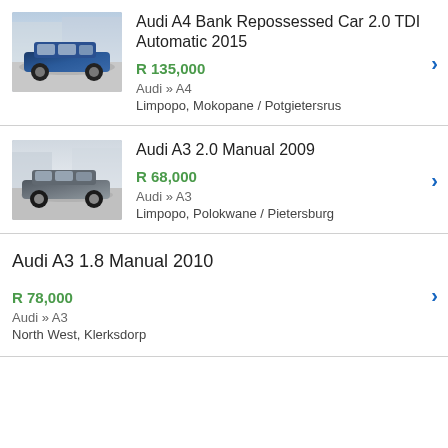[Figure (photo): Blue Audi A4 car parked outdoors]
Audi A4 Bank Repossessed Car 2.0 TDI Automatic 2015
R 135,000
Audi » A4
Limpopo, Mokopane / Potgietersrus
[Figure (photo): Grey Audi A3 car parked outdoors]
Audi A3 2.0 Manual 2009
R 68,000
Audi » A3
Limpopo, Polokwane / Pietersburg
Audi A3 1.8 Manual 2010
R 78,000
Audi » A3
North West, Klerksdorp